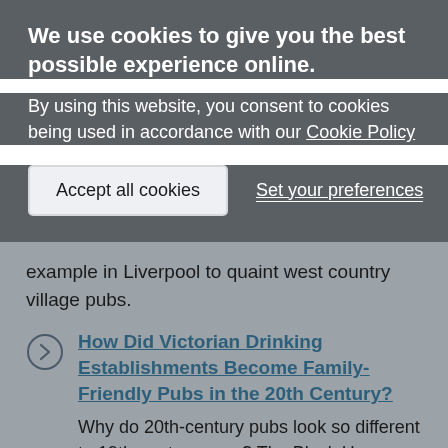We use cookies to give you the best possible experience online.
By using this website, you consent to cookies being used in accordance with our Cookie Policy
Accept all cookies
Set your preferences
example in Liverpool to quaint west country village pubs.
How Did Victorian Drinking Establishments Become Family-Friendly Pubs in the 20th Century?
Why do 20th-century pubs look so different to 19th-century ones? The Black Horse pub in Birmingham, dating from 1929 and listed at Grade II, provides the answer.